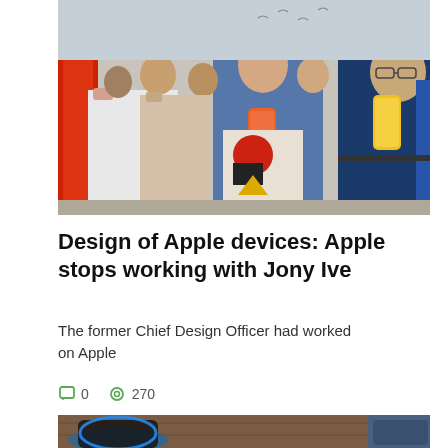[Figure (photo): Two men holding colorful iPhones at an Apple event. The man in the center holds an orange/coral iPhone XR, and the man on the right holds a yellow iPhone XR. Crowds of people are visible in the background.]
Design of Apple devices: Apple stops working with Jony Ive
The former Chief Design Officer had worked on Apple
0  270
[Figure (photo): Partial photo showing what appears to be an Apple device on a wooden surface, partially cut off at bottom of page.]